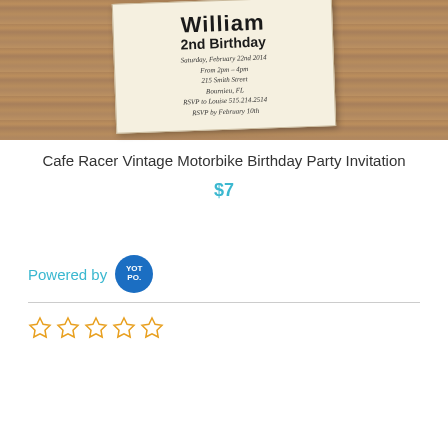[Figure (photo): Product photo of a Cafe Racer Vintage Motorbike Birthday Party Invitation card placed on a wood background. The card shows bold text including '2nd Birthday', date, location and RSVP details.]
Cafe Racer Vintage Motorbike Birthday Party Invitation
$7
Powered by YOTPO
[Figure (other): Five empty star rating icons in orange/gold outline style]